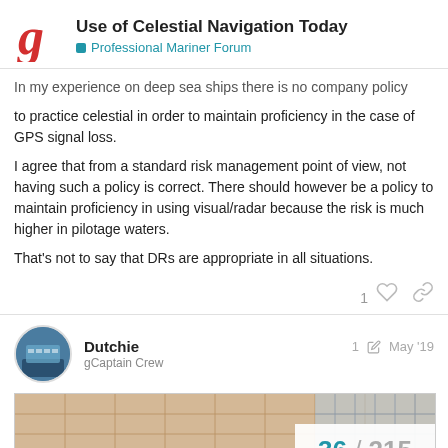Use of Celestial Navigation Today — Professional Mariner Forum
In my experience on deep sea ships there is no company policy to practice celestial in order to maintain proficiency in the case of GPS signal loss.
I agree that from a standard risk management point of view, not having such a policy is correct. There should however be a policy to maintain proficiency in using visual/radar because the risk is much higher in pilotage waters.
That's not to say that DRs are appropriate in all situations.
Dutchie — gCaptain Crew — 1 edit — May '19
[Figure (photo): Photo of a large cargo/container ship at a port or dock, partially visible. Pagination overlay shows 36 / 215.]